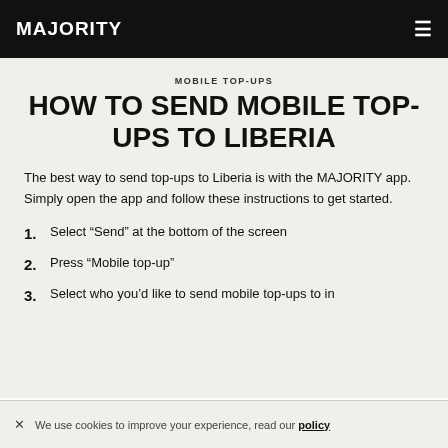MAJORITY
MOBILE TOP-UPS
HOW TO SEND MOBILE TOP-UPS TO LIBERIA
The best way to send top-ups to Liberia is with the MAJORITY app. Simply open the app and follow these instructions to get started.
1. Select “Send” at the bottom of the screen
2. Press “Mobile top-up”
3. Select who you’d like to send mobile top-ups to in
We use cookies to improve your experience, read our policy